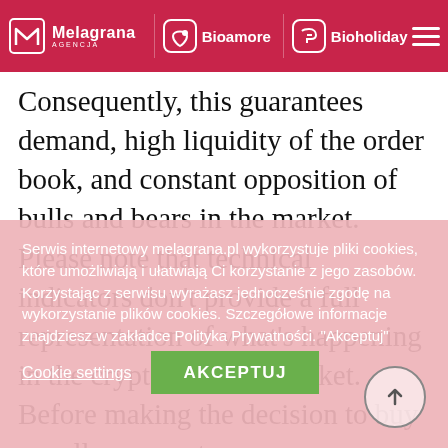Melagrana | Bioamore | Bioholiday
Consequently, this guarantees demand, high liquidity of the order book, and constant opposition of bulls and bears in the market. Please note that technical indicators don't provide a full representation of what's happening in the cryptocurrency market. Before making the decision to buy or sell any cryptocurrency, you should carefully consider both technical and fundamental factors, as well as your financial situation. The cryptocurrency market is also highly volatile, which
Serwis internetowy melagrana.pl wykorzystuje pliki cookies, które umożliwiają i ułatwiają Ci korzystanie z jego zasobów. Korzystając z serwisu wyrażasz jednocześnie zgodę na wykorzystanie plików cookies. Szczegółowe informacje znajdziesz w zakładce Polityka Prywatności. "Akceptuj"
Cookie settings
AKCEPTUJ